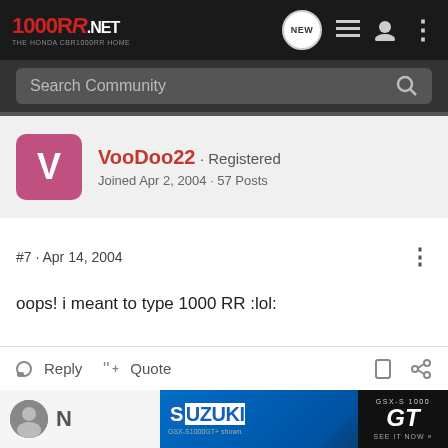1000RR.NET - The Honda CBR1000RR Home
Search Community
[Figure (infographic): User profile card for VooDoo22, Registered member, Joined Apr 2, 2004, 57 Posts]
#7 · Apr 14, 2004
oops! i meant to type 1000 RR :lol:
Reply  Quote
[Figure (photo): Suzuki GSX-S1000GT advertisement banner at bottom of page]